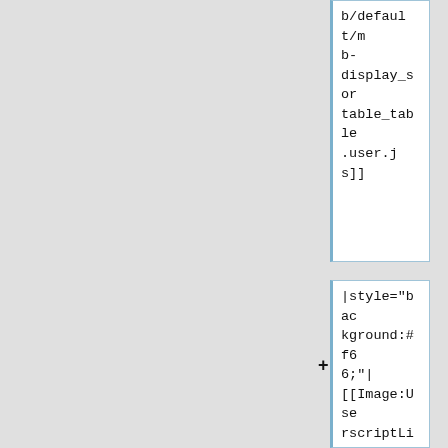b/default/mb-display_sortable_table.user.js]]
|style="background:#f66;"| [[Image:UserscriptList-Bug.svg|20px |link=https://github.com/loujine/musicbrainz-scripts/issues]]